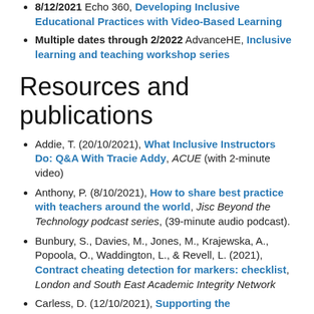8/12/2021 Echo 360, Developing Inclusive Educational Practices with Video-Based Learning
Multiple dates through 2/2022 AdvanceHE, Inclusive learning and teaching workshop series
Resources and publications
Addie, T. (20/10/2021), What Inclusive Instructors Do: Q&A With Tracie Addy, ACUE (with 2-minute video)
Anthony, P. (8/10/2021), How to share best practice with teachers around the world, Jisc Beyond the Technology podcast series, (39-minute audio podcast).
Bunbury, S., Davies, M., Jones, M., Krajewska, A., Popoola, O., Waddington, L., & Revell, L. (2021), Contract cheating detection for markers: checklist, London and South East Academic Integrity Network
Carless, D. (12/10/2021), Supporting the